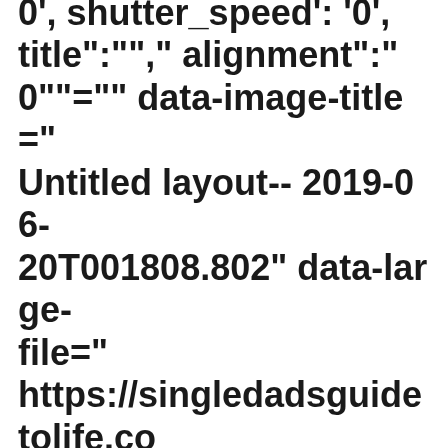0', 'shutter_speed': '0', title":""," alignment":"0""="" data-image-title="Untitled layout-- 2019-06-20T001808.802" data-large-file="https://singledadsguidetolife.com/wp-content/uploads/2019/06/Untitled-design-2019-06-20T001808.802-1-600x600.png" data-medium-file="